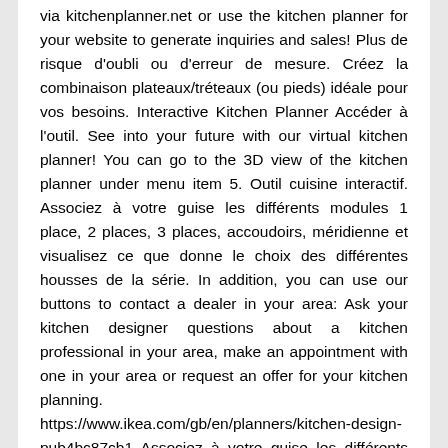via kitchenplanner.net or use the kitchen planner for your website to generate inquiries and sales! Plus de risque d'oubli ou d'erreur de mesure. Créez la combinaison plateaux/tréteaux (ou pieds) idéale pour vos besoins. Interactive Kitchen Planner Accéder à l'outil. See into your future with our virtual kitchen planner! You can go to the 3D view of the kitchen planner under menu item 5. Outil cuisine interactif. Associez à votre guise les différents modules 1 place, 2 places, 3 places, accoudoirs, méridienne et visualisez ce que donne le choix des différentes housses de la série. In addition, you can use our buttons to contact a dealer in your area: Ask your kitchen designer questions about a kitchen professional in your area, make an appointment with one in your area or request an offer for your kitchen planning. https://www.ikea.com/gb/en/planners/kitchen-design-pub4bc87cb1 Associez à votre guise les différents modules 1 place, 2 places, 3 places, méridienne et visualisez ce que donne le choix des différentes housses de la série. We create custom virtual kitchen